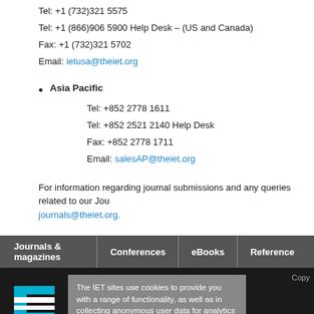Tel: +1 (732)321 5575
Tel: +1 (866)906 5900 Help Desk – (US and Canada)
Fax: +1 (732)321 5702
Email: ietusa@theiet.org
Asia Pacific
Tel: +852 2778 1611
Tel: +852 2521 2140 Help Desk
Fax: +852 2778 1711
Email: salesAP@theiet.org
For information regarding journal submissions and any queries related to our Journals, please email journals@theiet.org.
Journals & magazines | Conferences | eBooks | Reference
The IET sites use cookies to provide you with a range of functionality, as well as in collecting anonymous user data for analytics and advertising.
> Tell me more about IET cookies and how to control them
> Don't show this message again
The Institution of Engineering and T